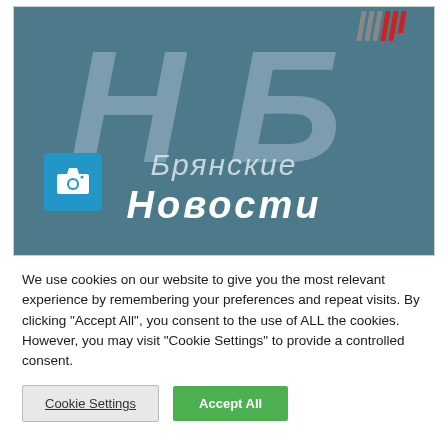[Figure (logo): Bryansk News (Брянские Новости) logo on teal/dark blue-grey background. Large translucent Cyrillic letters НБ in italic. Red and grey diagonal stripes top right. Camera icon in blue square bottom left. Text reads 'Брянские Новости' in white italic.]
We use cookies on our website to give you the most relevant experience by remembering your preferences and repeat visits. By clicking "Accept All", you consent to the use of ALL the cookies. However, you may visit "Cookie Settings" to provide a controlled consent.
Cookie Settings
Accept All